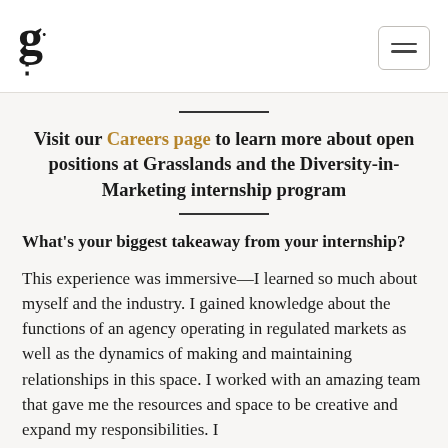g. [logo] [hamburger menu]
Visit our Careers page to learn more about open positions at Grasslands and the Diversity-in-Marketing internship program
What's your biggest takeaway from your internship?
This experience was immersive—I learned so much about myself and the industry. I gained knowledge about the functions of an agency operating in regulated markets as well as the dynamics of making and maintaining relationships in this space. I worked with an amazing team that gave me the resources and space to be creative and expand my responsibilities. I